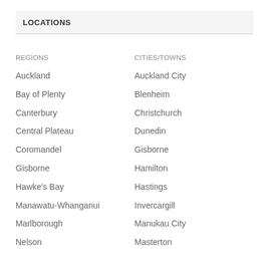LOCATIONS
| REGIONS | CITIES/TOWNS |
| --- | --- |
| Auckland | Auckland City |
| Bay of Plenty | Blenheim |
| Canterbury | Christchurch |
| Central Plateau | Dunedin |
| Coromandel | Gisborne |
| Gisborne | Hamilton |
| Hawke's Bay | Hastings |
| Manawatu-Whanganui | Invercargill |
| Marlborough | Manukau City |
| Nelson | Masterton |